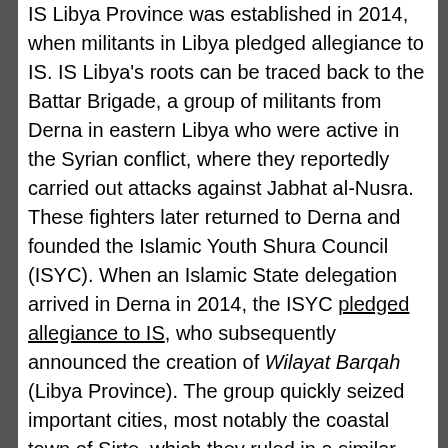IS Libya Province was established in 2014, when militants in Libya pledged allegiance to IS. IS Libya's roots can be traced back to the Battar Brigade, a group of militants from Derna in eastern Libya who were active in the Syrian conflict, where they reportedly carried out attacks against Jabhat al-Nusra. These fighters later returned to Derna and founded the Islamic Youth Shura Council (ISYC). When an Islamic State delegation arrived in Derna in 2014, the ISYC pledged allegiance to IS, who subsequently announced the creation of Wilayat Barqah (Libya Province). The group quickly seized important cities, most notably the coastal town of Sirte, which they ruled in a similar manner to that practised by IS in cities such as Raqqa in Syria and Mosul in Iraq. Sirte is, incidentally, located close to many of Libya's most significant oil fields. However, IS Libya has been on the back foot throughout 2016, and forces loyal to the UN-backed Government of National Accord (GNA) have virtually